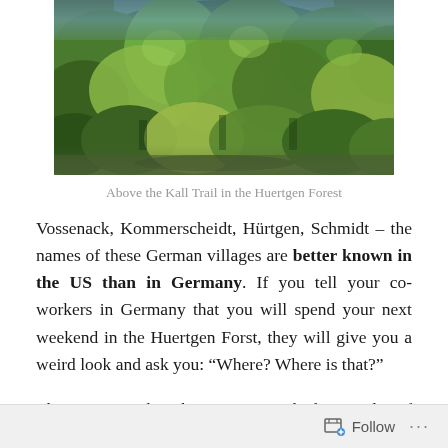[Figure (photo): Aerial/elevated view of a dense forest with green trees and hills in the Huertgen Forest area]
Above the Kall Trail in the Huertgen Forest
Vossenack, Kommerscheidt, Hürtgen, Schmidt – the names of these German villages are better known in the US than in Germany. If you tell your co-workers in Germany that you will spend your next weekend in the Huertgen Forst, they will give you a weird look and ask you: “Where? Where is that?”
The reason why this region and the Battle of Huertgen